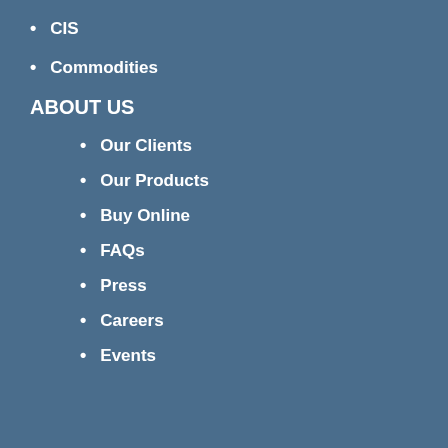CIS
Commodities
ABOUT US
Our Clients
Our Products
Buy Online
FAQs
Press
Careers
Events